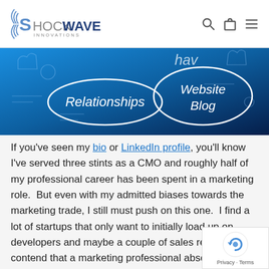Shockwave Innovations — logo and navigation
[Figure (photo): Blue background marketing concept image with handwritten-style oval labels reading 'Relationships' and 'Website Blog', with hand-drawn icons on a dark blue gradient background.]
If you've seen my bio or LinkedIn profile, you'll know I've served three stints as a CMO and roughly half of my professional career has been spent in a marketing role.  But even with my admitted biases towards the marketing trade, I still must push on this one.  I find a lot of startups that only want to initially load up on developers and maybe a couple of sales reps.  But I contend that a marketing professional absolutely, positively should be one of your first 10